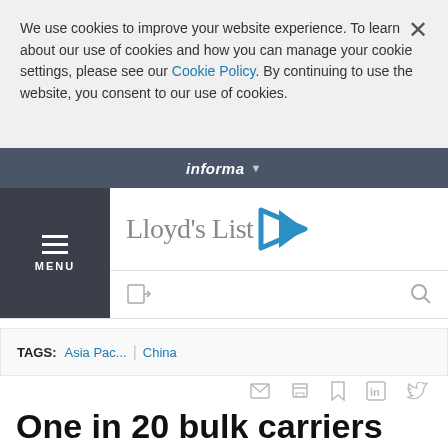We use cookies to improve your website experience. To learn about our use of cookies and how you can manage your cookie settings, please see our Cookie Policy. By continuing to use the website, you consent to our use of cookies.
informa
[Figure (logo): Lloyd's List logo with blue play-button arrow icon]
TAGS: Asia Pac... | China
One in 20 bulk carriers caught in China port